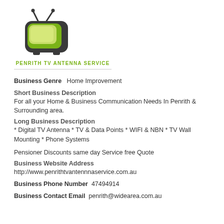[Figure (logo): Green cartoon TV with antennae logo for Penrith TV Antenna Service, with text 'PENRITH TV ANTENNA SERVICE' below]
Business Genre   Home Improvement
Short Business Description
For all your Home & Business Communication Needs In Penrith & Surrounding area.
Long Business Description
* Digital TV Antenna * TV & Data Points * WIFI & NBN * TV Wall Mounting * Phone Systems
Pensioner Discounts same day Service free Quote
Business Website Address
http://www.penrithtvantennnaservice.com.au
Business Phone Number  47494914
Business Contact Email  penrith@widearea.com.au